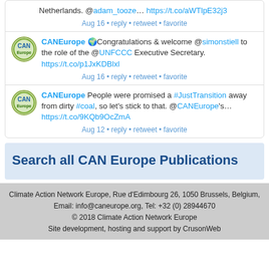Netherlands. @adam_tooze… https://t.co/aWTlpE32j3
Aug 16 • reply • retweet • favorite
CANEurope 🌍Congratulations & welcome @simonstiell to the role of the @UNFCCC Executive Secretary. https://t.co/p1JxKDBlxl
Aug 16 • reply • retweet • favorite
CANEurope People were promised a #JustTransition away from dirty #coal, so let's stick to that. @CANEurope's… https://t.co/9KQb9OcZmA
Aug 12 • reply • retweet • favorite
Search all CAN Europe Publications
Climate Action Network Europe, Rue d'Edimbourg 26, 1050 Brussels, Belgium, Email: info@caneurope.org, Tel: +32 (0) 28944670 © 2018 Climate Action Network Europe Site development, hosting and support by CrusonWeb